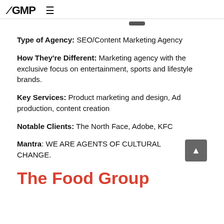GMP
Type of Agency: SEO/Content Marketing Agency
How They're Different: Marketing agency with the exclusive focus on entertainment, sports and lifestyle brands.
Key Services: Product marketing and design, Ad production, content creation
Notable Clients: The North Face, Adobe, KFC
Mantra: WE ARE AGENTS OF CULTURAL CHANGE.
The Food Group